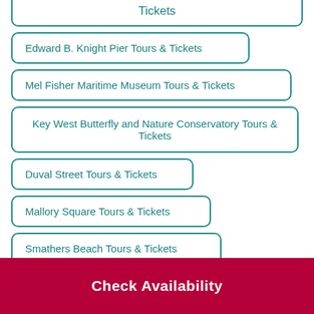Tickets
Edward B. Knight Pier Tours & Tickets
Mel Fisher Maritime Museum Tours & Tickets
Key West Butterfly and Nature Conservatory Tours & Tickets
Duval Street Tours & Tickets
Mallory Square Tours & Tickets
Smathers Beach Tours & Tickets
Check Availability